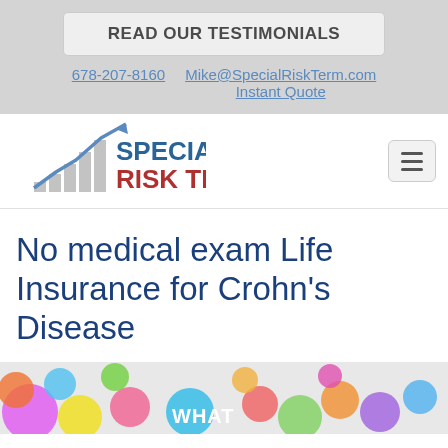READ OUR TESTIMONIALS
678-207-8160   Mike@SpecialRiskTerm.com   Instant Quote
[Figure (logo): Special Risk Term logo with upward trend chart graphic, blue and red text]
No medical exam Life Insurance for Crohn's Disease
[Figure (photo): Colorful bubbles/circles image with a teal circle showing the word WHAT in white text]